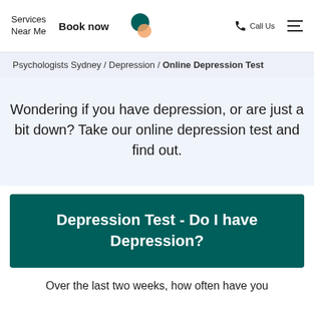Services Near Me  Book now  Call Us
Psychologists Sydney / Depression / Online Depression Test
Wondering if you have depression, or are just a bit down? Take our online depression test and find out.
Depression Test - Do I have Depression?
Over the last two weeks, how often have you